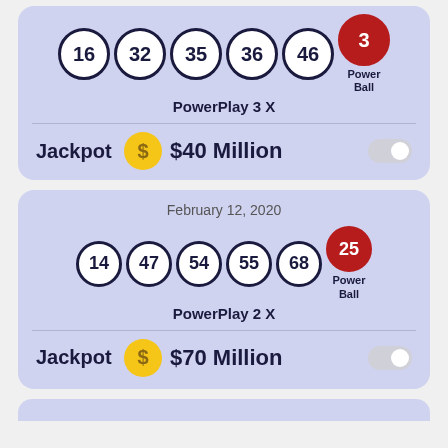[Figure (infographic): Powerball lottery result card showing numbers 16, 32, 35, 36, 46 and Powerball 3, PowerPlay 3X, Jackpot $40 Million]
[Figure (infographic): Powerball lottery result card for February 12, 2020, showing numbers 14, 47, 54, 55, 68 and Powerball 25, PowerPlay 2X, Jackpot $70 Million]
[Figure (infographic): Partial bottom card visible at bottom of page]